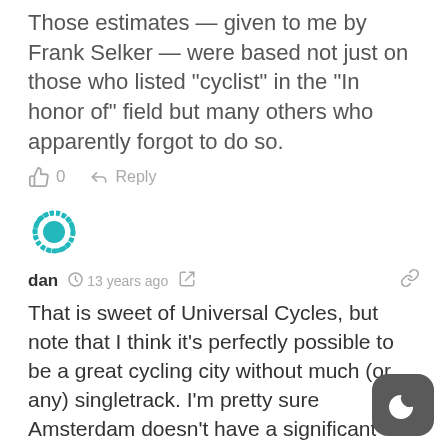Those estimates — given to me by Frank Selker — were based not just on those who listed “cyclist” in the “In honor of” field but many others who apparently forgot to do so.
0   Reply
[Figure (illustration): Circular teal/turquoise avatar icon with decorative spiked border pattern]
dan  ○ 13 years ago  <  🔗
That is sweet of Universal Cycles, but note that I think it’s perfectly possible to be a great cycling city without much (or any) singletrack. I’m pretty sure Amsterdam doesn’t have a significant amount of singletrack, after all.
We’re talking about recreation here, vs. helping bikes stand on an equal footing
[Figure (illustration): Dark gray rounded square button with crescent moon icon (night/dark mode toggle)]